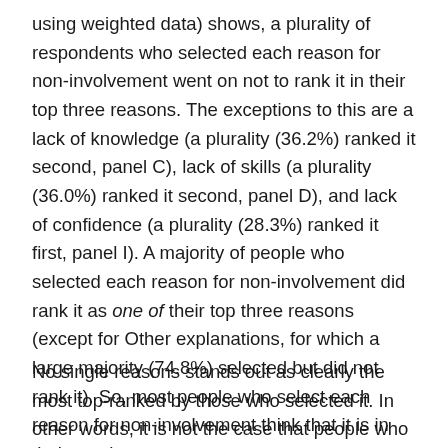using weighted data) shows, a plurality of respondents who selected each reason for non-involvement went on not to rank it in their top three reasons. The exceptions to this are a lack of knowledge (a plurality (36.2%) ranked it second, panel C), lack of skills (a plurality (36.0%) ranked it second, panel D), and lack of confidence (a plurality (28.3%) ranked it first, panel I). A majority of people who selected each reason for non-involvement did rank it as one of their top three reasons (except for Other explanations, for which a large majority (74.8%) selected but did not rank it). So, most people who select each reason for non-involvement think that it is in their top three reasons.
No single reasons stands out as clearly the most top-ranked by those who selected it. In other words, it is not the case that people who select, for instance, lack of